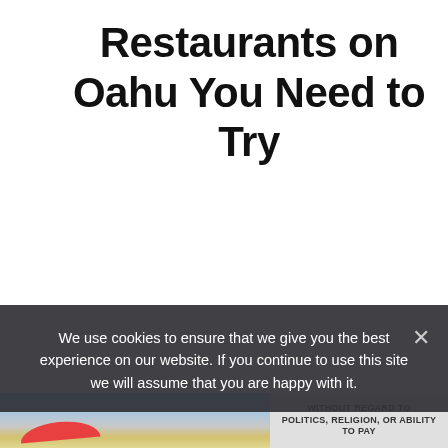Restaurants on Oahu You Need to Try
We use cookies to ensure that we give you the best experience on our website. If you continue to use this site we will assume that you are happy with it.
[Figure (photo): Advertisement strip showing an airplane on a tarmac being loaded with cargo, with a yellow and red livery. A text panel on the right reads WITHOUT REGARD TO POLITICS, RELIGION, OR ABILITY TO PAY.]